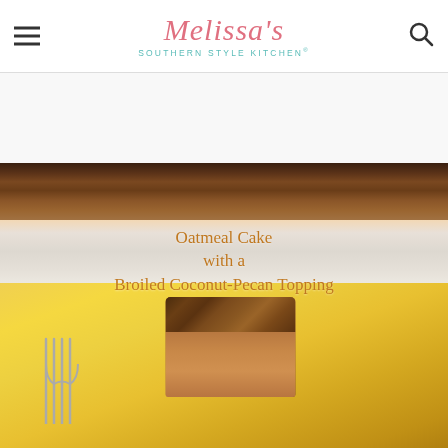Melissa's Southern Style Kitchen®
[Figure (photo): Photo of oatmeal cake with broiled coconut-pecan topping on a yellow plate with a fork, with text overlay reading 'Oatmeal Cake with a Broiled Coconut-Pecan Topping']